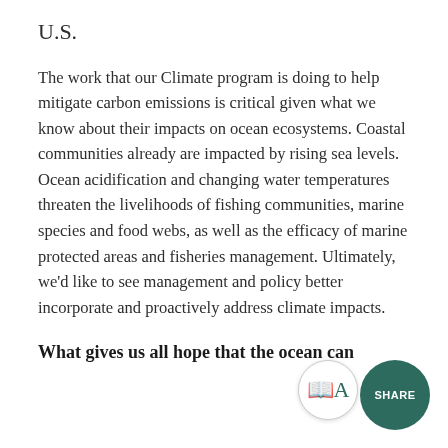U.S.
The work that our Climate program is doing to help mitigate carbon emissions is critical given what we know about their impacts on ocean ecosystems. Coastal communities already are impacted by rising sea levels. Ocean acidification and changing water temperatures threaten the livelihoods of fishing communities, marine species and food webs, as well as the efficacy of marine protected areas and fisheries management. Ultimately, we’d like to see management and policy better incorporate and proactively address climate impacts.
What gives us all hope that the ocean can